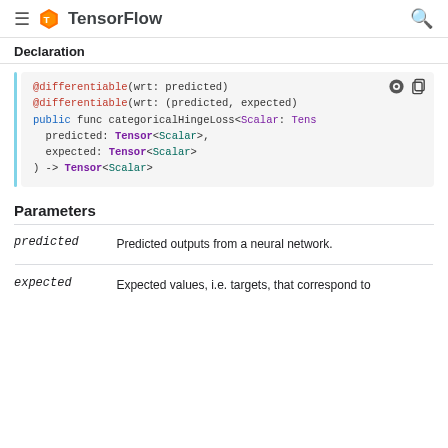TensorFlow
Declaration
@differentiable(wrt: predicted)
@differentiable(wrt: (predicted, expected))
public func categoricalHingeLoss<Scalar: Tensor
  predicted: Tensor<Scalar>,
  expected: Tensor<Scalar>
) -> Tensor<Scalar>
Parameters
| Parameter | Description |
| --- | --- |
| predicted | Predicted outputs from a neural network. |
| expected | Expected values, i.e. targets, that correspond to |